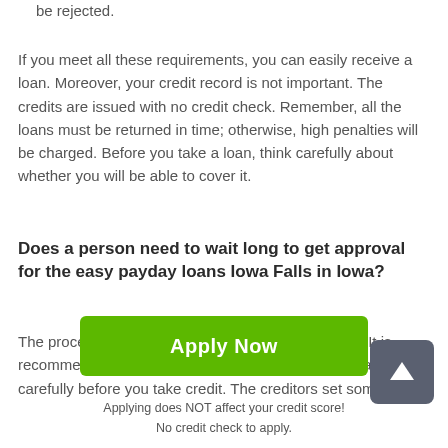be rejected.
If you meet all these requirements, you can easily receive a loan. Moreover, your credit record is not important. The credits are issued with no credit check. Remember, all the loans must be returned in time; otherwise, high penalties will be charged. Before you take a loan, think carefully about whether you will be able to cover it.
Does a person need to wait long to get approval for the easy payday loans Iowa Falls in Iowa?
The process of approval takes only several minutes. It is recommended to study the conditions of the loan treaty carefully before you take credit. The creditors set some
[Figure (other): Green Apply Now button with rounded corners]
Applying does NOT affect your credit score!
No credit check to apply.